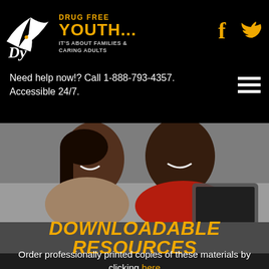Drug Free Youth... It's About Families & Caring Adults
Need help now!? Call 1-888-793-4357. Accessible 24/7.
[Figure (photo): Two adults smiling and looking at a tablet together]
DOWNLOADABLE RESOURCES
Order professionally printed copies of these materials by clicking here